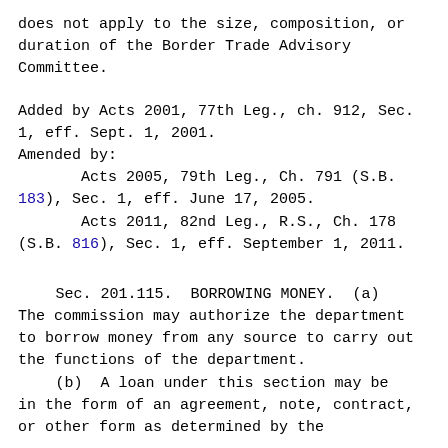does not apply to the size, composition, or duration of the Border Trade Advisory Committee.
Added by Acts 2001, 77th Leg., ch. 912, Sec. 1, eff. Sept. 1, 2001.
Amended by:
        Acts 2005, 79th Leg., Ch. 791 (S.B. 183), Sec. 1, eff. June 17, 2005.
        Acts 2011, 82nd Leg., R.S., Ch. 178 (S.B. 816), Sec. 1, eff. September 1, 2011.
Sec. 201.115.  BORROWING MONEY.  (a) The commission may authorize the department to borrow money from any source to carry out the functions of the department.
        (b)  A loan under this section may be in the form of an agreement, note, contract, or other form as determined by the